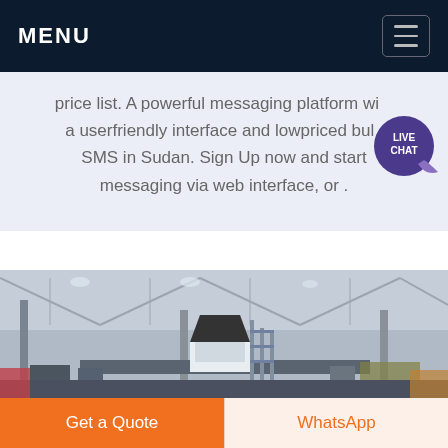MENU
price list. A powerful messaging platform with a userfriendly interface and lowpriced bulk SMS in Sudan. Sign Up now and start messaging via web interface, or .
[Figure (photo): Industrial factory interior showing a large cone crusher or industrial machine on a platform with scaffolding, inside a large warehouse with steel roof trusses and skylights.]
Get a Quote
WhatsApp